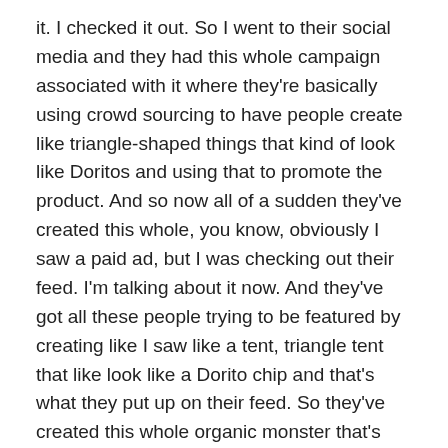it. I checked it out. So I went to their social media and they had this whole campaign associated with it where they're basically using crowd sourcing to have people create like triangle-shaped things that kind of look like Doritos and using that to promote the product. And so now all of a sudden they've created this whole, you know, obviously I saw a paid ad, but I was checking out their feed. I'm talking about it now. And they've got all these people trying to be featured by creating like I saw like a tent, triangle tent that like look like a Dorito chip and that's what they put up on their feed. So they've created this whole organic monster that's now churning around this paid campaign that has no name in it. That's amazing.
Mateo: 14:32 – Yeah, I think that's awesome. And I think that's the difference between, you know, I may have